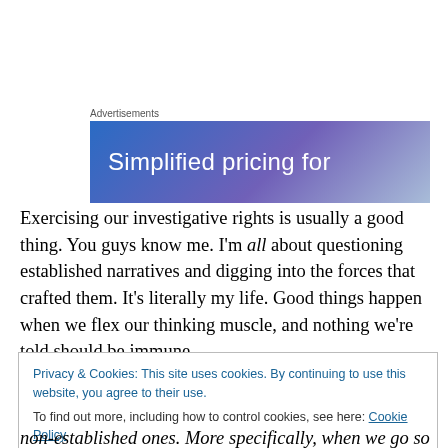[Figure (illustration): Advertisement banner with gradient blue-purple background and white text reading 'Simplified pricing for']
Exercising our investigative rights is usually a good thing. You guys know me. I'm all about questioning established narratives and digging into the forces that crafted them. It's literally my life. Good things happen when we flex our thinking muscle, and nothing we're told should be immune
Privacy & Cookies: This site uses cookies. By continuing to use this website, you agree to their use.
To find out more, including how to control cookies, see here: Cookie Policy
Close and accept
non-established ones. More specifically, when we go so